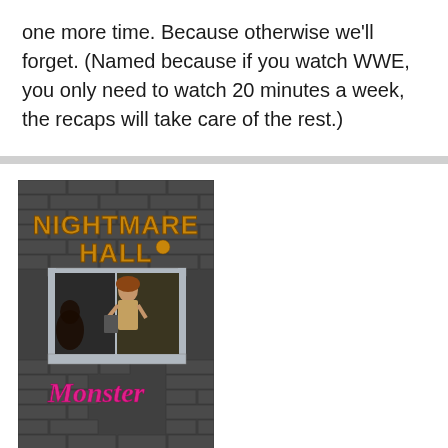one more time. Because otherwise we'll forget. (Named because if you watch WWE, you only need to watch 20 minutes a week, the recaps will take care of the rest.)
[Figure (illustration): Book cover of 'Nightmare Hall: Monster' by Diane Hoh. Dark gray brick wall background with a window showing a woman inside. 'NIGHTMARE HALL' in large orange collegiate-style letters at top, 'Monster' in pink cursive script in the lower portion, 'DIANE HOH' in orange block letters at the bottom.]